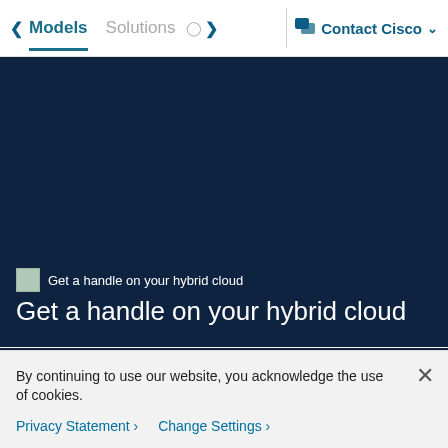◀ Models   Solutions   ○ ▶   💬 Contact Cisco ▾
[Figure (screenshot): Dark navy blue hero banner background for Cisco Intersight promotion]
Get a handle on your hybrid cloud
Get a handle on your hybrid cloud
Try Intersight Workload Optimizer free for 45 days.
By continuing to use our website, you acknowledge the use of cookies.
Privacy Statement >   Change Settings >